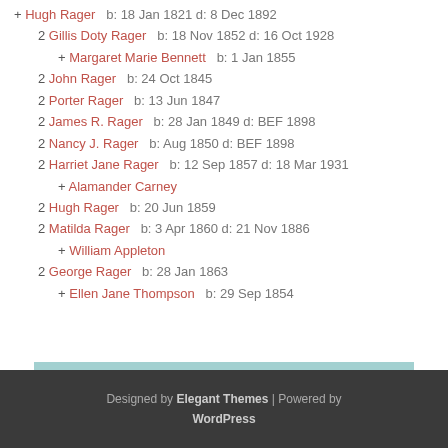+ Hugh Rager   b: 18 Jan 1821 d: 8 Dec 1892
2 Gillis Doty Rager   b: 18 Nov 1852 d: 16 Oct 1928
+ Margaret Marie Bennett   b: 1 Jan 1855
2 John Rager   b: 24 Oct 1845
2 Porter Rager   b: 13 Jun 1847
2 James R. Rager   b: 28 Jan 1849 d: BEF 1898
2 Nancy J. Rager   b: Aug 1850 d: BEF 1898
2 Harriet Jane Rager   b: 12 Sep 1857 d: 18 Mar 1931
+ Alamander Carney
2 Hugh Rager   b: 20 Jun 1859
2 Matilda Rager   b: 3 Apr 1860 d: 21 Nov 1886
+ William Appleton
2 George Rager   b: 28 Jan 1863
+ Ellen Jane Thompson   b: 29 Sep 1854
Designed by Elegant Themes | Powered by WordPress